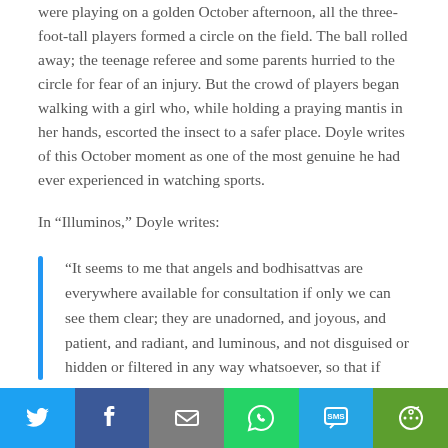were playing on a golden October afternoon, all the three-foot-tall players formed a circle on the field. The ball rolled away; the teenage referee and some parents hurried to the circle for fear of an injury. But the crowd of players began walking with a girl who, while holding a praying mantis in her hands, escorted the insect to a safer place. Doyle writes of this October moment as one of the most genuine he had ever experienced in watching sports.
In “Illuminos,” Doyle writes:
“It seems to me that angels and bodhisattvas are everywhere available for consultation if only we can see them clear; they are unadorned, and joyous, and patient, and radiant, and luminous, and not disguised or hidden or filtered in any way whatsoever, so that if
Social share bar: Twitter, Facebook, Email, WhatsApp, SMS, More